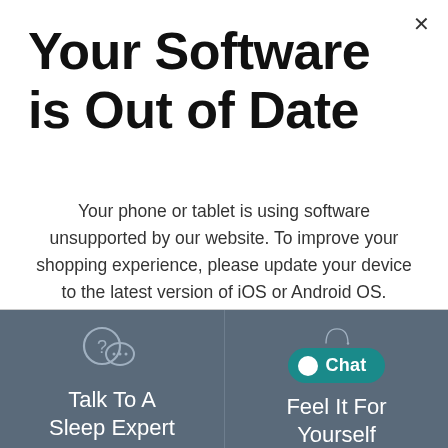Your Software is Out of Date
Your phone or tablet is using software unsupported by our website. To improve your shopping experience, please update your device to the latest version of iOS or Android OS.
[Figure (infographic): Two-panel bottom bar on dark blue-grey background. Left panel has a speech bubble with question mark icon and text 'Talk To A Sleep Expert'. Right panel has a teal chat button with dot icon labeled 'Chat' and partial circular icon above, with text 'Feel It For Yourself'.]